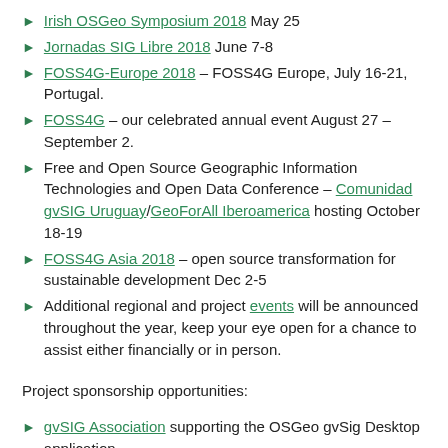Irish OSGeo Symposium 2018 May 25
Jornadas SIG Libre 2018 June 7-8
FOSS4G-Europe 2018 – FOSS4G Europe, July 16-21, Portugal.
FOSS4G – our celebrated annual event August 27 – September 2.
Free and Open Source Geographic Information Technologies and Open Data Conference – Comunidad gvSIG Uruguay/GeoForAll Iberoamerica hosting October 18-19
FOSS4G Asia 2018 – open source transformation for sustainable development Dec 2-5
Additional regional and project events will be announced throughout the year, keep your eye open for a chance to assist either financially or in person.
Project sponsorship opportunities:
gvSIG Association supporting the OSGeo gvSig Desktop application